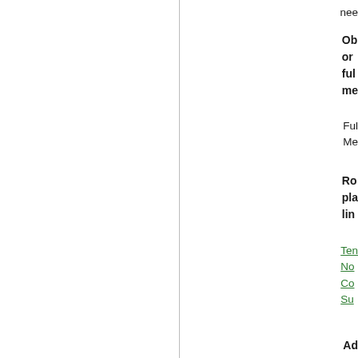nee
Ob or ful me
Ful Me
Ro pla lin
Ten No Co Su
Ad inf
ks
Me of the
Cou Of Fre Mar